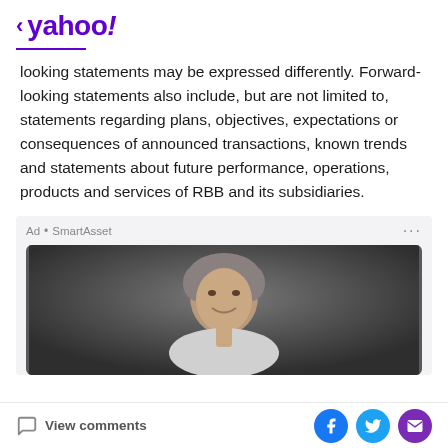< yahoo!
looking statements may be expressed differently. Forward-looking statements also include, but are not limited to, statements regarding plans, objectives, expectations or consequences of announced transactions, known trends and statements about future performance, operations, products and services of RBB and its subsidiaries.
[Figure (photo): Advertisement from SmartAsset featuring a headshot photo of a middle-aged woman with short grey hair, smiling, on a dark background.]
View comments